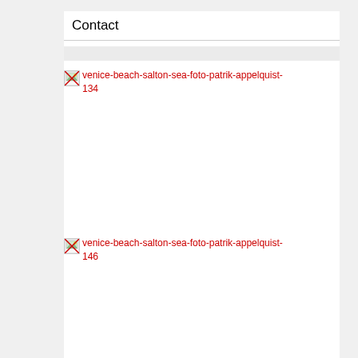Contact
[Figure (other): Broken image placeholder with red link text: venice-beach-salton-sea-foto-patrik-appelquist-134]
[Figure (other): Broken image placeholder with red link text: venice-beach-salton-sea-foto-patrik-appelquist-146]